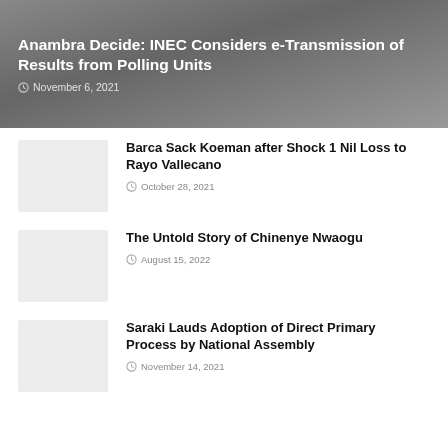Anambra Decide: INEC Considers e-Transmission of Results from Polling Units
November 6, 2021
Barca Sack Koeman after Shock 1 Nil Loss to Rayo Vallecano
October 28, 2021
The Untold Story of Chinenye Nwaogu
August 15, 2022
Saraki Lauds Adoption of Direct Primary Process by National Assembly
November 14, 2021